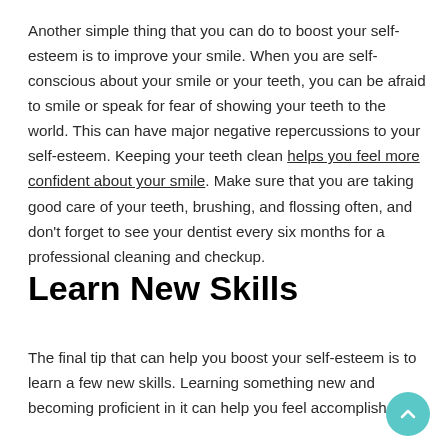Another simple thing that you can do to boost your self-esteem is to improve your smile. When you are self-conscious about your smile or your teeth, you can be afraid to smile or speak for fear of showing your teeth to the world. This can have major negative repercussions to your self-esteem. Keeping your teeth clean helps you feel more confident about your smile. Make sure that you are taking good care of your teeth, brushing, and flossing often, and don't forget to see your dentist every six months for a professional cleaning and checkup.
Learn New Skills
The final tip that can help you boost your self-esteem is to learn a few new skills. Learning something new and becoming proficient in it can help you feel accomplished